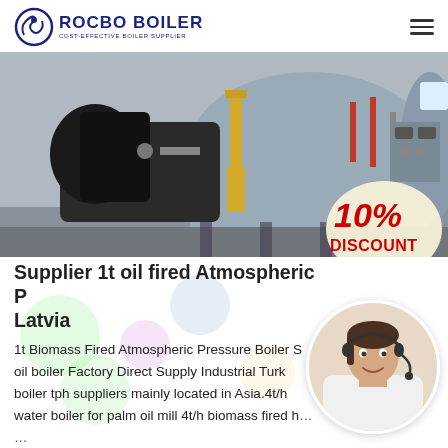ROCBO BOILER – COST-EFFECTIVE BOILER SUPPLIER
[Figure (photo): Industrial boiler equipment in a facility, showing a large cylindrical boiler with attached burner and piping. A yellow vertical pipe is prominent in the center. A 10% DISCOUNT badge is overlaid on the lower right of the image.]
Supplier 1t oil fired Atmospheric Pressure Boiler Latvia
1t Biomass Fired Atmospheric Pressure Boiler S… oil boiler Factory Direct Supply Industrial Turk… boiler tph suppliers mainly located in Asia.4t/h… water boiler for palm oil mill 4t/h biomass fired ho… …